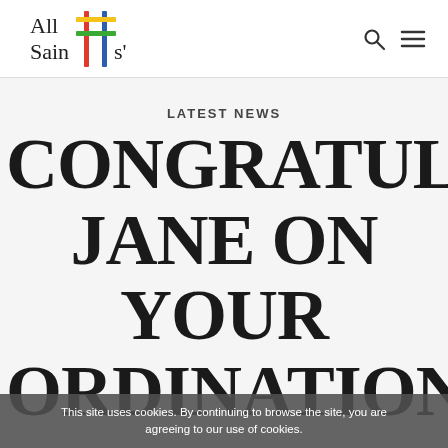[Figure (logo): All Saints' church logo with colorful cross made of vertical bars in red, yellow, green, blue]
LATEST NEWS
CONGRATULAT JANE ON YOUR ORDINATION
This site uses cookies. By continuing to browse the site, you are agreeing to our use of cookies.